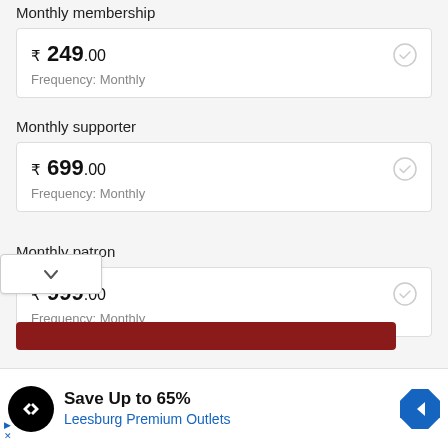Monthly membership
₹ 249.00
Frequency: Monthly
Monthly supporter
₹ 699.00
Frequency: Monthly
Monthly patron
₹ 999.00
Frequency: Monthly
[Figure (screenshot): Advertisement banner: Save Up to 65% Leesburg Premium Outlets with logo and navigation arrow icon]